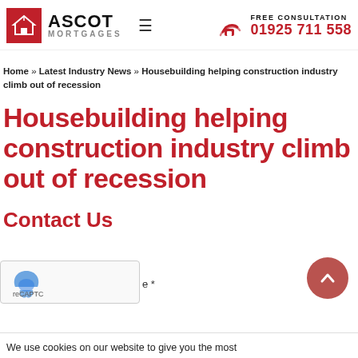[Figure (logo): Ascot Mortgages logo with red house icon and text ASCOT MORTGAGES, hamburger menu icon, and phone icon with FREE CONSULTATION and 01925 711 558]
Home » Latest Industry News » Housebuilding helping construction industry climb out of recession
Housebuilding helping construction industry climb out of recession
Contact Us
We use cookies on our website to give you the most